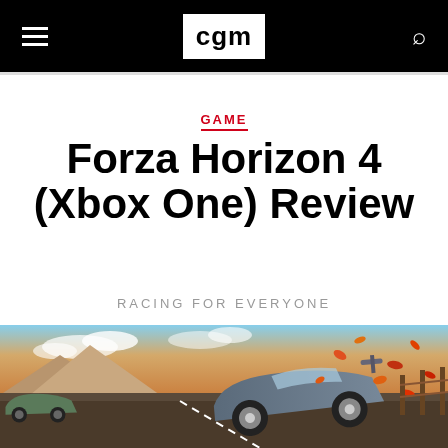CGM
GAME
Forza Horizon 4 (Xbox One) Review
RACING FOR EVERYONE
[Figure (photo): Forza Horizon 4 hero image showing a sports car racing on a road with autumn leaves falling, set in a scenic landscape with clouds and mountains in background]